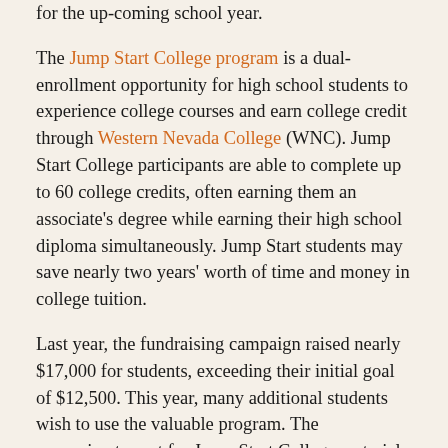for the up-coming school year.
The Jump Start College program is a dual-enrollment opportunity for high school students to experience college courses and earn college credit through Western Nevada College (WNC). Jump Start College participants are able to complete up to 60 college credits, often earning them an associate's degree while earning their high school diploma simultaneously. Jump Start students may save nearly two years' worth of time and money in college tuition.
Last year, the fundraising campaign raised nearly $17,000 for students, exceeding their initial goal of $12,500. This year, many additional students wish to use the valuable program. The approximate cost for Jump Start College materials for 150 students is expected to be $24,000 or $160 per student.
If the foundation is successful in exceeding their fundraising goal, all additional funds will be applied to